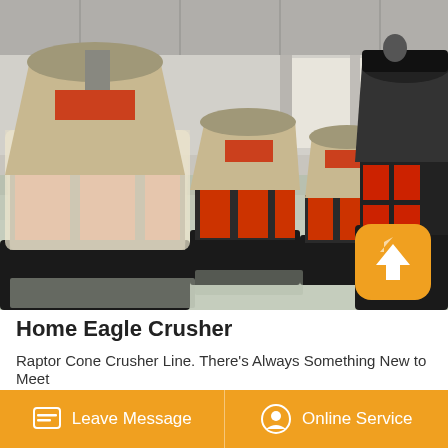[Figure (photo): Industrial factory floor with multiple cone crushers lined up. Large red and beige colored cone crushers in foreground and background, with an orange scroll-to-top arrow button overlay in bottom right corner. High-ceiling warehouse with steel roof structure.]
Home Eagle Crusher
Raptor Cone Crusher Line. There's Always Something New to Meet